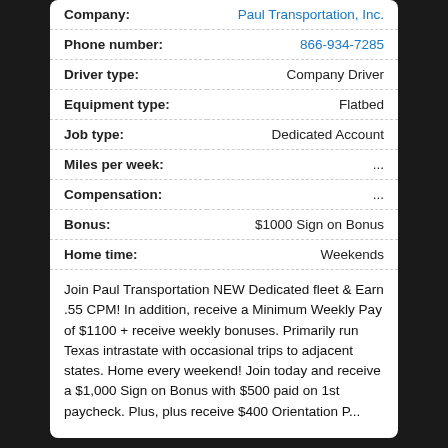| Field | Value |
| --- | --- |
| Company: | Paul Transportation, Inc. |
| Phone number: | 866-934-7285 |
| Driver type: | Company Driver |
| Equipment type: | Flatbed |
| Job type: | Dedicated Account |
| Miles per week: | ... |
| Compensation: | ... |
| Bonus: | $1000 Sign on Bonus |
| Home time: | Weekends |
Join Paul Transportation NEW Dedicated fleet & Earn .55 CPM! In addition, receive a Minimum Weekly Pay of $1100 + receive weekly bonuses. Primarily run Texas intrastate with occasional trips to adjacent states. Home every weekend! Join today and receive a $1,000 Sign on Bonus with $500 paid on 1st paycheck. Plus, plus receive $400 Orientation P...